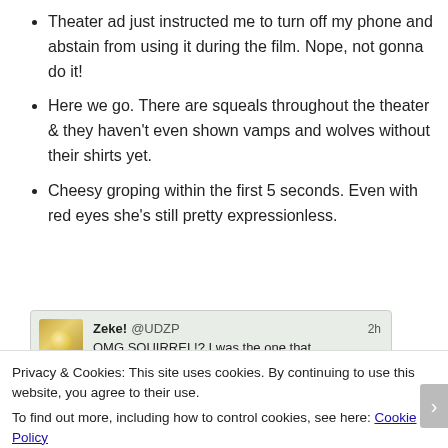Theater ad just instructed me to turn off my phone and abstain from using it during the film. Nope, not gonna do it!
Here we go. There are squeals throughout the theater & they haven't even shown vamps and wolves without their shirts yet.
Cheesy groping within the first 5 seconds. Even with red eyes she's still pretty expressionless.
[Figure (screenshot): Tweet from Zeke! @UDZP, 2h ago: OMG SQUIRREL!? I was the one that squealed that time. Why would they]
Privacy & Cookies: This site uses cookies. By continuing to use this website, you agree to their use.
To find out more, including how to control cookies, see here: Cookie Policy
Close and accept